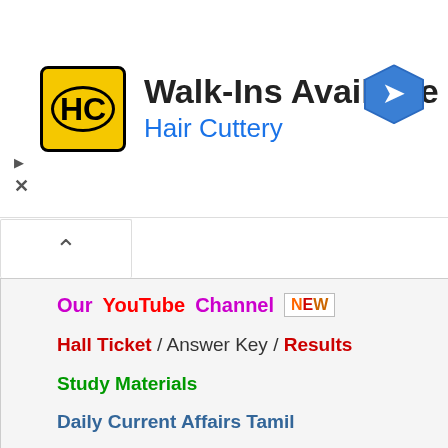[Figure (advertisement): Hair Cuttery ad banner with HC logo, 'Walk-Ins Available' title, 'Hair Cuttery' subtitle, and navigation arrow icon]
Our YouTube Channel NEW
Hall Ticket / Answer Key / Results
Study Materials
Daily Current Affairs Tamil
TNPSC Annual Planner
TRB Annual Planner
Govt Job for Freshers